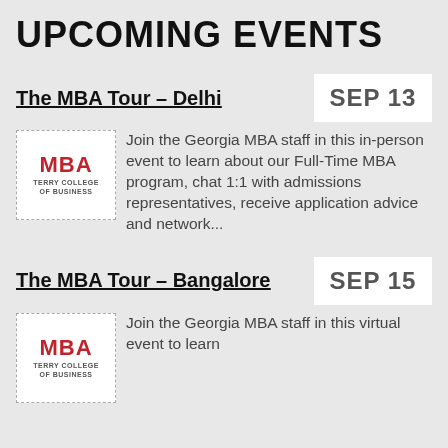UPCOMING EVENTS
The MBA Tour – Delhi
SEP 13
Join the Georgia MBA staff in this in-person event to learn about our Full-Time MBA program, chat 1:1 with admissions representatives, receive application advice and network...
The MBA Tour – Bangalore
SEP 15
Join the Georgia MBA staff in this virtual event to learn